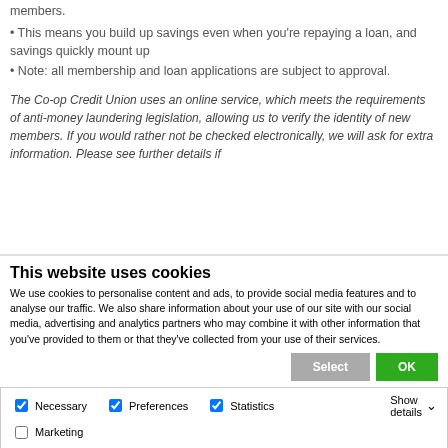members.
• This means you build up savings even when you're repaying a loan, and savings quickly mount up
• Note: all membership and loan applications are subject to approval.
The Co-op Credit Union uses an online service, which meets the requirements of anti-money laundering legislation, allowing us to verify the identity of new members. If you would rather not be checked electronically, we will ask for extra information. Please see further details if
This website uses cookies
We use cookies to personalise content and ads, to provide social media features and to analyse our traffic. We also share information about your use of our site with our social media, advertising and analytics partners who may combine it with other information that you've provided to them or that they've collected from your use of their services.
Select | OK
Necessary  Preferences  Statistics  Marketing | Show details